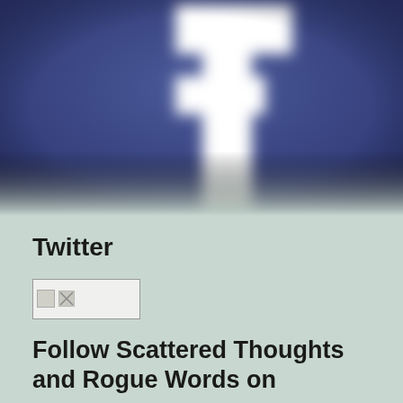[Figure (illustration): Blurred Facebook logo — white 'f' letter on dark blue/indigo background, soft focus effect]
Twitter
[Figure (logo): Small broken/missing image placeholder icon]
Follow Scattered Thoughts and Rogue Words on